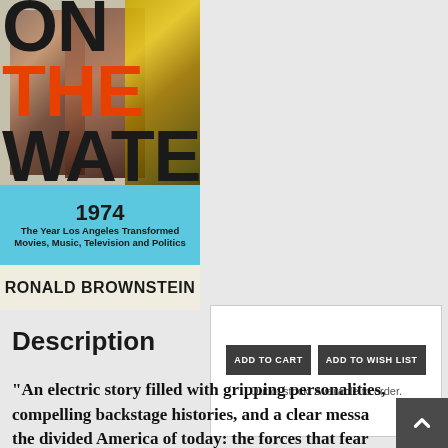[Figure (photo): Book cover for '1974: The Year Los Angeles Transformed Movies, Music, Television and Politics' by Ronald Brownstein. Cover shows text 'ON THE WATER' in large bold letters with photos of people overlaid, a blue band with the title and subtitle, and the author's name at the bottom on a cream background.]
ADD TO CART
ADD TO WISH LIST
Out of stock. Available to order.
Description
"An electric story filled with gripping personalities, compelling backstage histories, and a clear messa the divided America of today: the forces that fear